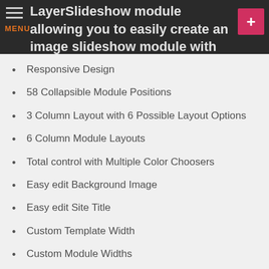LayerSlideshow module allowing you to easily create an image slideshow module with layered image and caption for each slide.
Responsive Design
58 Collapsible Module Positions
3 Column Layout with 6 Possible Layout Options
6 Column Module Layouts
Total control with Multiple Color Choosers
Easy edit Background Image
Easy edit Site Title
Custom Template Width
Custom Module Widths
Tableless and 100% CSS based design
Multiple Font Choosers (14 Web Safe Fonts + 100 Google Fonts)
J51 Thumbs Gallery Module